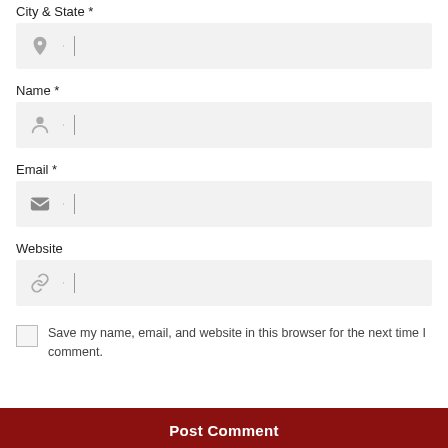City & State *
[Figure (other): Text input field for City & State with location pin icon]
Name *
[Figure (other): Text input field for Name with person/user icon]
Email *
[Figure (other): Text input field for Email with envelope icon]
Website
[Figure (other): Text input field for Website with link/chain icon]
Save my name, email, and website in this browser for the next time I comment.
Post Comment